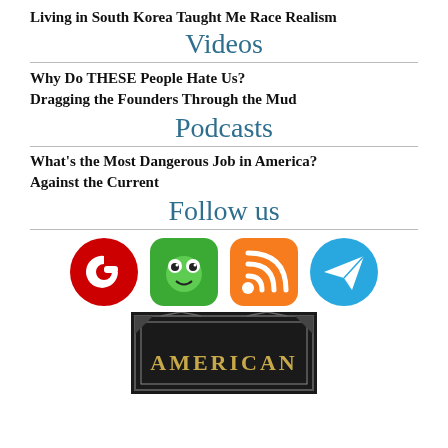Living in South Korea Taught Me Race Realism
Videos
Why Do THESE People Hate Us?
Dragging the Founders Through the Mud
Podcasts
What's the Most Dangerous Job in America?
Against the Current
Follow us
[Figure (infographic): Row of four social media icons: Gab (red C logo), Gab frog/chat icon (green), RSS feed icon (orange), Telegram icon (blue)]
[Figure (photo): Bottom portion of a dark book cover with decorative Art Deco border and gold text reading 'AMERICAN']